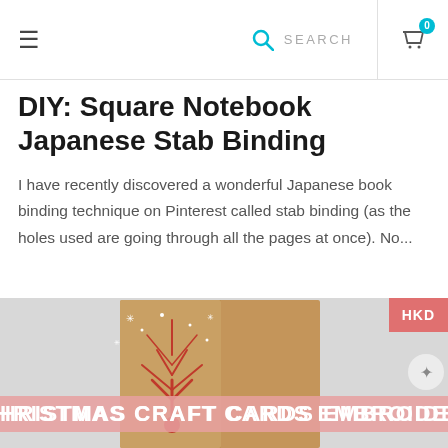≡  🔍 SEARCH  🛒 0
DIY: Square Notebook Japanese Stab Binding
I have recently discovered a wonderful Japanese book binding technique on Pinterest called stab binding (as the holes used are going through all the pages at once). No...
[Figure (photo): Photo of a kraft paper greeting card with a red snowflake/tree design on a snowy background, with a banner overlay reading 'HRISTMAS CRAFT CARDS EMBROIDE' partially visible]